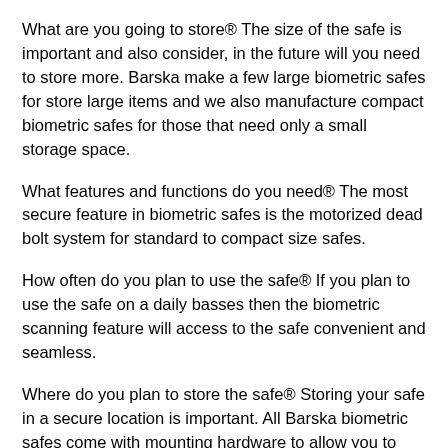What are you going to store® The size of the safe is important and also consider, in the future will you need to store more. Barska make a few large biometric safes for store large items and we also manufacture compact biometric safes for those that need only a small storage space.
What features and functions do you need® The most secure feature in biometric safes is the motorized dead bolt system for standard to compact size safes.
How often do you plan to use the safe® If you plan to use the safe on a daily basses then the biometric scanning feature will access to the safe convenient and seamless.
Where do you plan to store the safe® Storing your safe in a secure location is important. All Barska biometric safes come with mounting hardware to allow you to secure the safe to a solid structure to prevent someone from taking off with the entire safe.
Are you planning on storing a firearm® All firearms sh be securely stored but in your state or city it may be th